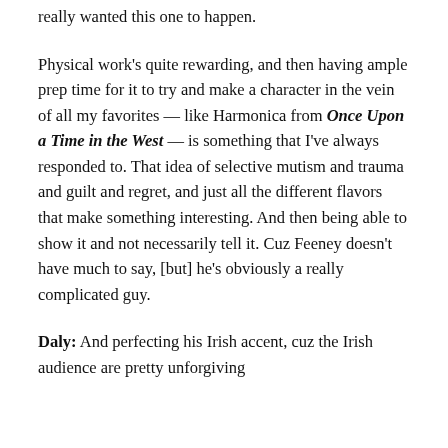really wanted this one to happen.
Physical work's quite rewarding, and then having ample prep time for it to try and make a character in the vein of all my favorites — like Harmonica from Once Upon a Time in the West — is something that I've always responded to. That idea of selective mutism and trauma and guilt and regret, and just all the different flavors that make something interesting. And then being able to show it and not necessarily tell it. Cuz Feeney doesn't have much to say, [but] he's obviously a really complicated guy.
Daly: And perfecting his Irish accent, cuz the Irish audience are pretty unforgiving